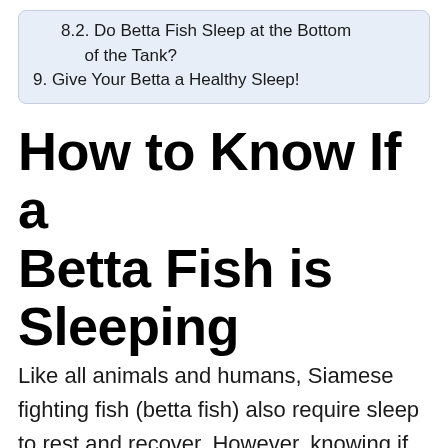8.2. Do Betta Fish Sleep at the Bottom of the Tank?
9. Give Your Betta a Healthy Sleep!
How to Know If a Betta Fish is Sleeping
Like all animals and humans, Siamese fighting fish (betta fish) also require sleep to rest and recover. However, knowing if betta fish is sleeping can be challenging